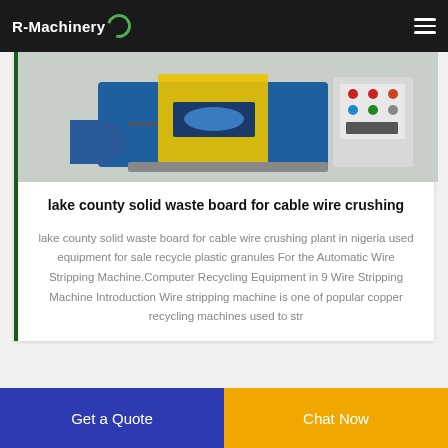R-Machinery
[Figure (photo): Photo of a cable wire crushing machine — blue and yellow industrial machine with a control panel on the right]
lake county solid waste board for cable wire crushing
lake county solid waste board for cable wire crushing plant in nigeria used equipment for sale recycle plastic granules For the Automatic Wire Stripping Machine.Computer Recycling Equipment in 9 Wire Stripping Machine Introduction Wire stripping machine is one of popular copper recycling machines used to str